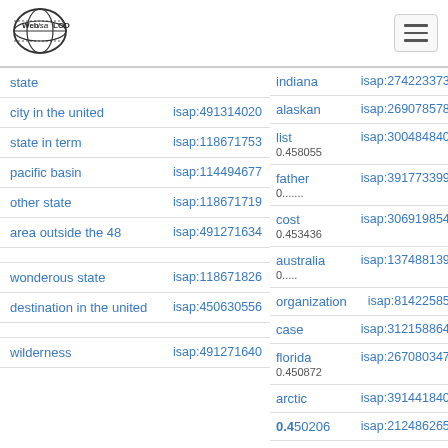[Figure (logo): Web isa LOD logo with globe icon]
| concept | isap id | score/label | isap id right |
| --- | --- | --- | --- |
| state |  | indiana | isap:274223373 |
| city in the united | isap:491314020 | alaskan | isap:269078578 |
| state in term | isap:118671753 | list
0.458055 | isap:300484840 |
| pacific basin | isap:114494677 | father
0.......   | isap:391773399 |
| other state | isap:118671719 | cost
0.453436 | isap:306919854 |
| area outside the 48 | isap:491271634 | australia
0..... | isap:137488139 |
|  |  | organization | isap:81422585 |
| wonderous state | isap:118671826 | case | isap:312158864 |
| destination in the united | isap:450630556 | florida
0.450872 | isap:267080347 |
|  |  | arctic | isap:391441840 |
| wilderness | isap:491271640 | 0.450206 | isap:212486265 |